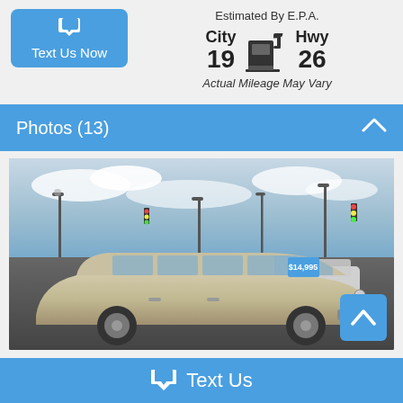[Figure (infographic): Text Us Now button with chat bubble icon, blue rounded rectangle]
Estimated By E.P.A.
City 19  Hwy 26
Actual Mileage May Vary
Photos (13)
[Figure (photo): Silver/gold Honda Odyssey minivan in a dealership lot, overcast sky, street lights and traffic signals in background, other cars visible]
Text Us